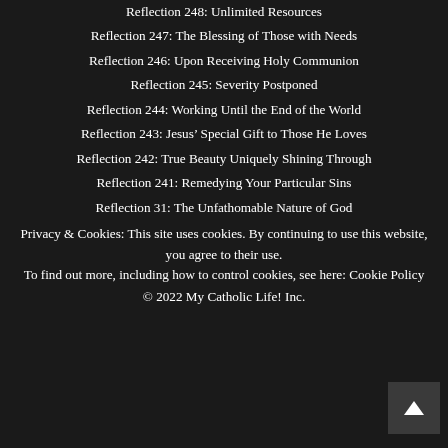Reflection 248: Unlimited Resources
Reflection 247: The Blessing of Those with Needs
Reflection 246: Upon Receiving Holy Communion
Reflection 245: Severity Postponed
Reflection 244: Working Until the End of the World
Reflection 243: Jesus’ Special Gift to Those He Loves
Reflection 242: True Beauty Uniquely Shining Through
Reflection 241: Remedying Your Particular Sins
Reflection 31: The Unfathomable Nature of God
Privacy & Cookies: This site uses cookies. By continuing to use this website, you agree to their use. To find out more, including how to control cookies, see here: Cookie Policy
© 2022 My Catholic Life! Inc.